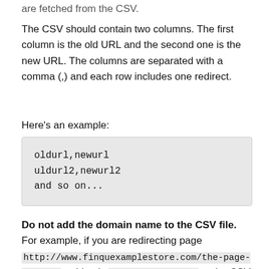are fetched from the CSV.
The CSV should contain two columns. The first column is the old URL and the second one is the new URL. The columns are separated with a comma (,) and each row includes one redirect.
Here's an example:
oldurl,newurl
uldurl2,newurl2
and so on...
Do not add the domain name to the CSV file. For example, if you are redirecting page http://www.finquexamplestore.com/the-page-address, add only the-page-address to the CSV file.